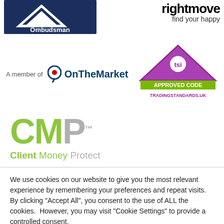[Figure (logo): Property Ombudsman logo - dark blue background with white triangle and text 'Ombudsman']
[Figure (logo): Rightmove logo - bold black text 'rightmove' with tagline 'find your happy']
[Figure (logo): OnTheMarket logo with text 'A member of OnTheMarket' featuring circular icon with red dot]
[Figure (logo): TSI Approved Code TradingStandards.uk logo - purple triangle with green base and text]
[Figure (logo): CMP Client Money Protect logo - green and grey letters CMP with subtitle 'Client Money Protect']
We use cookies on our website to give you the most relevant experience by remembering your preferences and repeat visits. By clicking "Accept All", you consent to the use of ALL the cookies.  However, you may visit "Cookie Settings" to provide a controlled consent.
Cookie Settings  Accept All